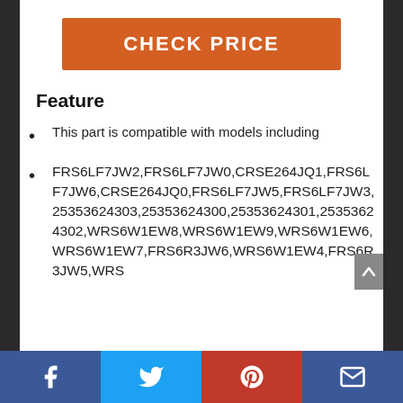CHECK PRICE
Feature
This part is compatible with models including
FRS6LF7JW2,FRS6LF7JW0,CRSE264JQ1,FRS6LF7JW6,CRSE264JQ0,FRS6LF7JW5,FRS6LF7JW3,25353624303,25353624300,25353624301,25353624302,WRS6W1EW8,WRS6W1EW9,WRS6W1EW6,WRS6W1EW7,FRS6R3JW6,WRS6W1EW4,FRS6R3JW5,WRS
Facebook | Twitter | Pinterest | Email